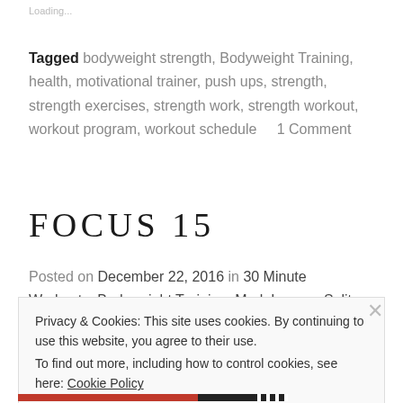Loading...
Tagged bodyweight strength, Bodyweight Training, health, motivational trainer, push ups, strength, strength exercises, strength work, strength workout, workout program, workout schedule     1 Comment
FOCUS 15
Posted on December 22, 2016 in 30 Minute Workouts, Bodyweight Training, Mark Lauren, Split
Privacy & Cookies: This site uses cookies. By continuing to use this website, you agree to their use.
To find out more, including how to control cookies, see here: Cookie Policy
Close and accept